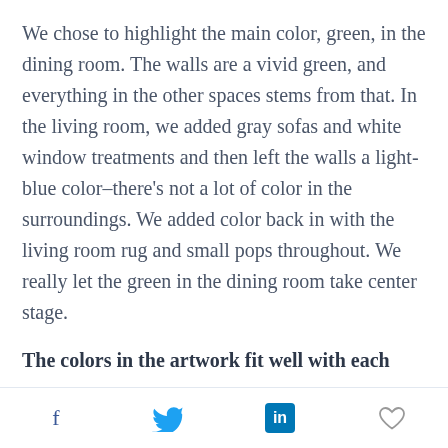We chose to highlight the main color, green, in the dining room. The walls are a vivid green, and everything in the other spaces stems from that. In the living room, we added gray sofas and white window treatments and then left the walls a light-blue color–there's not a lot of color in the surroundings. We added color back in with the living room rug and small pops throughout. We really let the green in the dining room take center stage.
The colors in the artwork fit well with each
f  [Twitter bird icon]  in  [Heart icon]